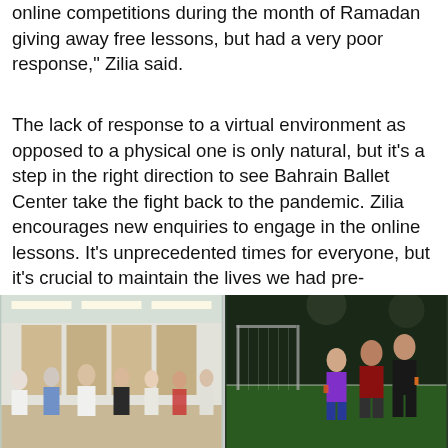online competitions during the month of Ramadan giving away free lessons, but had a very poor response," Zilia said.
The lack of response to a virtual environment as opposed to a physical one is only natural, but it's a step in the right direction to see Bahrain Ballet Center take the fight back to the pandemic. Zilia encourages new enquiries to engage in the online lessons. It's unprecedented times for everyone, but it's crucial to maintain the lives we had pre-pandemic, even if it is in a virtual environment. Businesses like these, that have held an iconic stance in Bahrain's art scene for a number of years, are the ones that need our undivided support the most. Without them, the homely aspects that make Bahrain the tight-knit community it is would be no more.
[Figure (photo): Two photos side by side: left shows people in a dance studio with wooden panels and fluorescent lighting; right shows three people standing on an outdoor football pitch at night.]